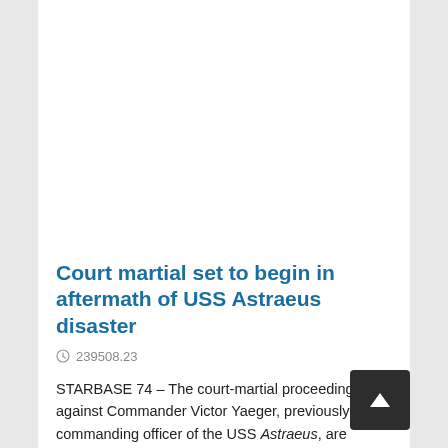Court martial set to begin in aftermath of USS Astraeus disaster
239508.23
STARBASE 74 – The court-martial proceedings against Commander Victor Yaeger, previously the commanding officer of the USS Astraeus, are scheduled to begin today.